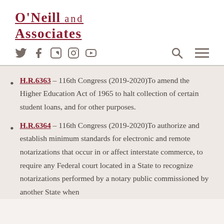O'Neill and Associates
H.R.6363 — 116th Congress (2019-2020)To amend the Higher Education Act of 1965 to halt collection of certain student loans, and for other purposes.
H.R.6364 — 116th Congress (2019-2020)To authorize and establish minimum standards for electronic and remote notarizations that occur in or affect interstate commerce, to require any Federal court located in a State to recognize notarizations performed by a notary public commissioned by another State when